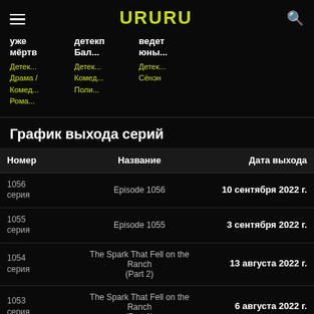URURU
уже мёртв
Детек...
Драма / Комед...
Рома...
детекп Бал...
Детек...
Комед...
Поли...
ведет юны...
Детек...
Сёнэн
График выхода серий
| Номер | Название | Дата выхода |
| --- | --- | --- |
| 1056 серия | Episode 1056 | 10 сентября 2022 г. |
| 1055 серия | Episode 1055 | 3 сентября 2022 г. |
| 1054 серия | The Spark That Fell on the Ranch (Part 2) | 13 августа 2022 г. |
| 1053 серия | The Spark That Fell on the Ranch (Part 1) | 6 августа 2022 г. |